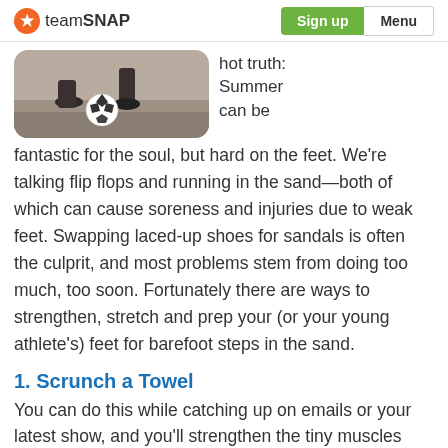teamSNAP | Sign up | Menu
[Figure (photo): Photo of feet and a soccer ball on dirt/sand ground, viewed from behind as someone kicks the ball.]
hot truth: Summer can be fantastic for the soul, but hard on the feet. We're talking flip flops and running in the sand—both of which can cause soreness and injuries due to weak feet. Swapping laced-up shoes for sandals is often the culprit, and most problems stem from doing too much, too soon. Fortunately there are ways to strengthen, stretch and prep your (or your young athlete's) feet for barefoot steps in the sand.
1. Scrunch a Towel
You can do this while catching up on emails or your latest show, and you'll strengthen the tiny muscles